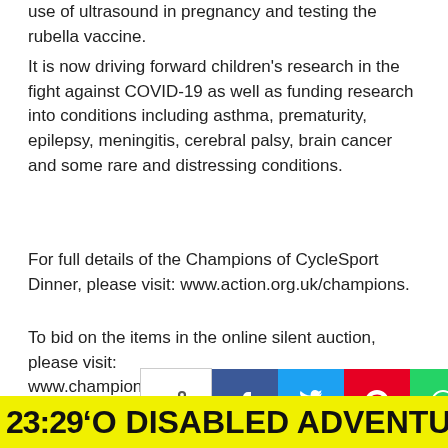use of ultrasound in pregnancy and testing the rubella vaccine.
It is now driving forward children’s research in the fight against COVID-19 as well as funding research into conditions including asthma, prematurity, epilepsy, meningitis, cerebral palsy, brain cancer and some rare and distressing conditions.
For full details of the Champions of CycleSport Dinner, please visit: www.action.org.uk/champions.
To bid on the items in the online silent auction, please visit: www.championsofcyclesportauction.com.
[Figure (other): Social share bar with share icon button (outline), Facebook (blue), Twitter (cyan), Pinterest (red), WhatsApp (green), LinkedIn (blue) buttons, and a dark navy chat/comment circle button]
23:29 'O DISABLED ADVENTURERS